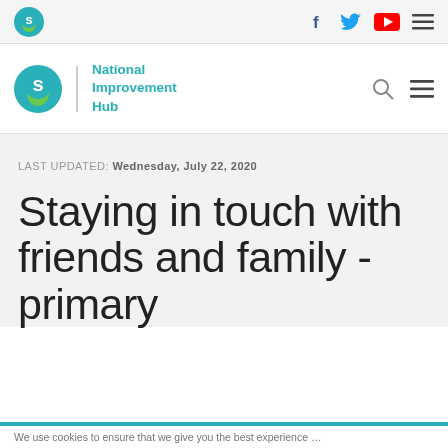National Improvement Hub — top navigation bar with logo and social icons
National Improvement Hub — main header with logo and search
LAST UPDATED: Wednesday, July 22, 2020
Staying in touch with friends and family - primary
We use cookies to ensure that we give you the best experience ...